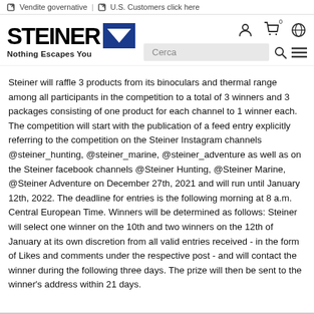Vendite governative | U.S. Customers click here
[Figure (logo): Steiner logo with blue triangle and tagline 'Nothing Escapes You', search bar, user/cart/globe icons]
Steiner will raffle 3 products from its binoculars and thermal range among all participants in the competition to a total of 3 winners and 3 packages consisting of one product for each channel to 1 winner each. The competition will start with the publication of a feed entry explicitly referring to the competition on the Steiner Instagram channels @steiner_hunting, @steiner_marine, @steiner_adventure as well as on the Steiner facebook channels @Steiner Hunting, @Steiner Marine, @Steiner Adventure on December 27th, 2021 and will run until January 12th, 2022. The deadline for entries is the following morning at 8 a.m. Central European Time. Winners will be determined as follows: Steiner will select one winner on the 10th and two winners on the 12th of January at its own discretion from all valid entries received - in the form of Likes and comments under the respective post - and will contact the winner during the following three days. The prize will then be sent to the winner's address within 21 days.